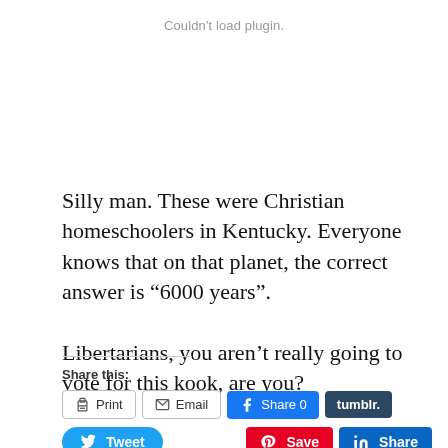Couldn't load plugin.
Silly man. These were Christian homeschoolers in Kentucky. Everyone knows that on that planet, the correct answer is “6000 years”.
Libertarians, you aren’t really going to vote for this kook, are you?
Share this:
Print  Email  Share 0  tumblr.  Tweet  Save  Share